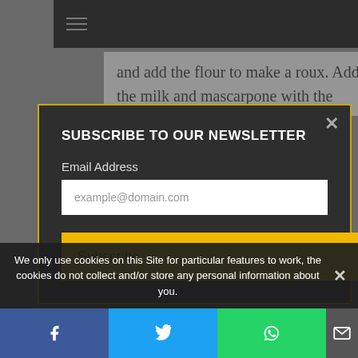[Figure (screenshot): Black navigation header bar with hamburger menu icon]
and add the flour to make a roux. Add the milk and mascarpone with the
SUBSCRIBE TO OUR NEWSLETTER
Email Address
example@domain.com
Subscribe
We only use cookies on this Site for particular features to work, the cookies do not collect and/or store any personal information about you.
[Figure (infographic): Social share bar with Facebook, Twitter, WhatsApp, and email icons]